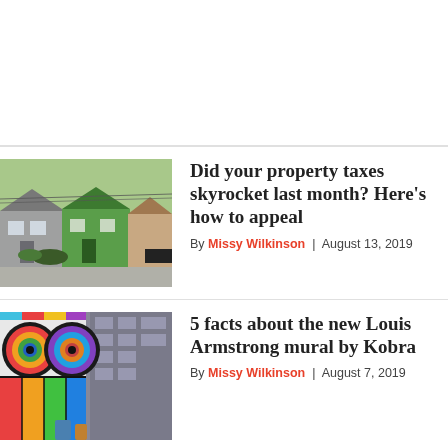[Figure (photo): Colorful shotgun houses on a residential street, New Orleans]
Did your property taxes skyrocket last month? Here’s how to appeal
By Missy Wilkinson | August 13, 2019
[Figure (photo): Colorful Louis Armstrong mural by Kobra on a building wall]
5 facts about the new Louis Armstrong mural by Kobra
By Missy Wilkinson | August 7, 2019